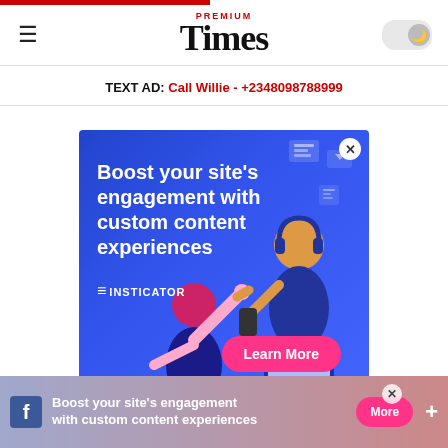Premium Times
TEXT AD: Call Willie - +2348098788999
[Figure (infographic): Insticator ad banner: 'Boost your site's engagement with custom content experiences' with a Learn More button on blue background with illustrated figures]
[Figure (infographic): Bottom sticky ad bar: 'Boost your site's engagement with custom content experiences' with More button, Facebook icon, and close/plus controls]